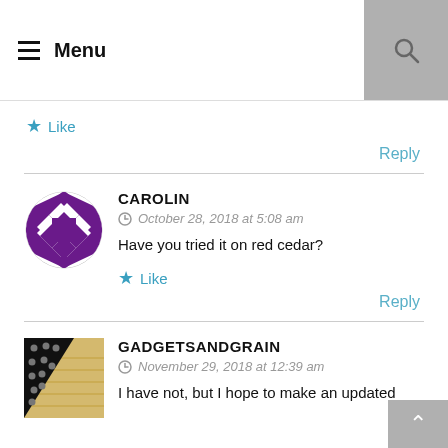Menu
Like
Reply
CAROLIN
October 28, 2018 at 5:08 am
Have you tried it on red cedar?
Like
Reply
GADGETSANDGRAIN
November 29, 2018 at 12:39 am
I have not, but I hope to make an updated